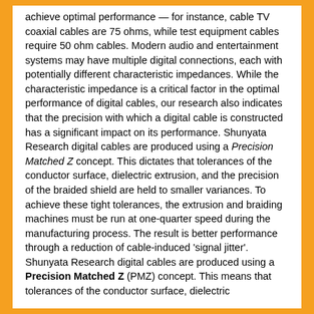achieve optimal performance — for instance, cable TV coaxial cables are 75 ohms, while test equipment cables require 50 ohm cables. Modern audio and entertainment systems may have multiple digital connections, each with potentially different characteristic impedances. While the characteristic impedance is a critical factor in the optimal performance of digital cables, our research also indicates that the precision with which a digital cable is constructed has a significant impact on its performance. Shunyata Research digital cables are produced using a Precision Matched Z concept. This dictates that tolerances of the conductor surface, dielectric extrusion, and the precision of the braided shield are held to smaller variances. To achieve these tight tolerances, the extrusion and braiding machines must be run at one-quarter speed during the manufacturing process. The result is better performance through a reduction of cable-induced 'signal jitter'. Shunyata Research digital cables are produced using a Precision Matched Z (PMZ) concept. This means that tolerances of the conductor surface, dielectric